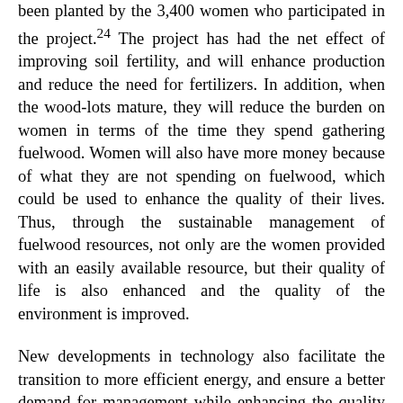been planted by the 3,400 women who participated in the project.24 The project has had the net effect of improving soil fertility, and will enhance production and reduce the need for fertilizers. In addition, when the wood-lots mature, they will reduce the burden on women in terms of the time they spend gathering fuelwood. Women will also have more money because of what they are not spending on fuelwood, which could be used to enhance the quality of their lives. Thus, through the sustainable management of fuelwood resources, not only are the women provided with an easily available resource, but their quality of life is also enhanced and the quality of the environment is improved.
New developments in technology also facilitate the transition to more efficient energy, and ensure a better demand for management while enhancing the quality of life for women. In Senegal, improved kilns for charcoal production, which required a relatively small investment, increased the carbonization yield by at least 20 per cent.25 This has the effect of reducing the amount of trees needed for charcoal production, thus, reducing the